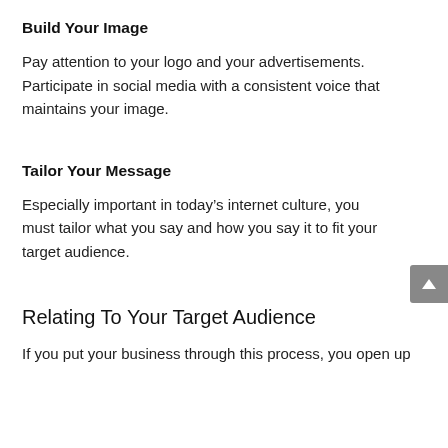Build Your Image
Pay attention to your logo and your advertisements. Participate in social media with a consistent voice that maintains your image.
Tailor Your Message
Especially important in today’s internet culture, you must tailor what you say and how you say it to fit your target audience.
Relating To Your Target Audience
If you put your business through this process, you open up